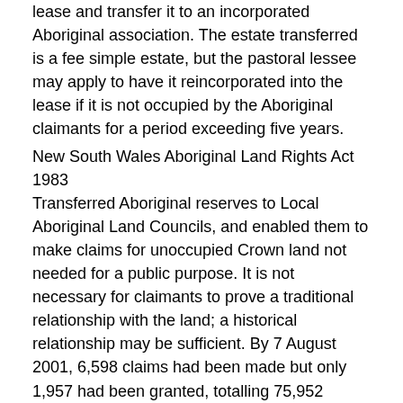lease and transfer it to an incorporated Aboriginal association. The estate transferred is a fee simple estate, but the pastoral lessee may apply to have it reincorporated into the lease if it is not occupied by the Aboriginal claimants for a period exceeding five years.
New South Wales Aboriginal Land Rights Act 1983
Transferred Aboriginal reserves to Local Aboriginal Land Councils, and enabled them to make claims for unoccupied Crown land not needed for a public purpose. It is not necessary for claimants to prove a traditional relationship with the land; a historical relationship may be sufficient. By 7 August 2001, 6,598 claims had been made but only 1,957 had been granted, totalling 75,952 hectares – less than 1% of the State. The Act also established a fund for land purchases, 13 Regional Land Councils and the NSW Aboriginal Land Council.